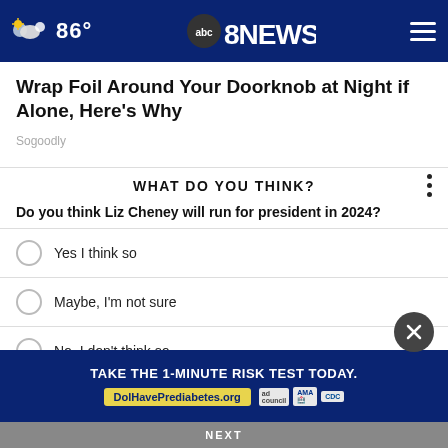86° abc8NEWS
Wrap Foil Around Your Doorknob at Night if Alone, Here's Why
Sogoodly
WHAT DO YOU THINK?
Do you think Liz Cheney will run for president in 2024?
Yes I think so
Maybe, I'm not sure
No, I don't think so
Other / No opinion
TAKE THE 1-MINUTE RISK TEST TODAY. DolHavePrediabetes.org